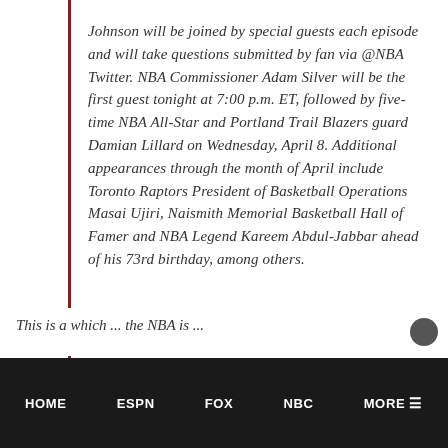Johnson will be joined by special guests each episode and will take questions submitted by fan via @NBA Twitter. NBA Commissioner Adam Silver will be the first guest tonight at 7:00 p.m. ET, followed by five-time NBA All-Star and Portland Trail Blazers guard Damian Lillard on Wednesday, April 8. Additional appearances through the month of April include Toronto Raptors President of Basketball Operations Masai Ujiri, Naismith Memorial Basketball Hall of Famer and NBA Legend Kareem Abdul-Jabbar ahead of his 73rd birthday, among others.
This is a... which... the NBA is...
HOME   ESPN   FOX   NBC   MORE